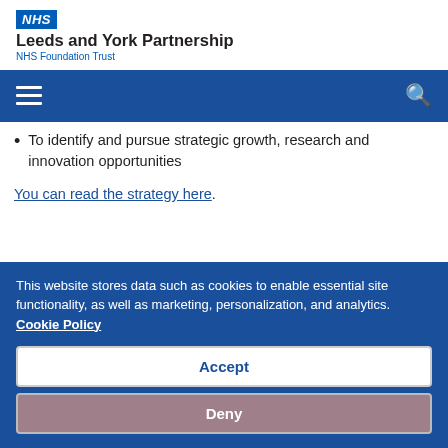NHS Leeds and York Partnership NHS Foundation Trust
To identify and pursue strategic growth, research and innovation opportunities
You can read the strategy here.
This website stores data such as cookies to enable essential site functionality, as well as marketing, personalization, and analytics. Cookie Policy
Accept
Deny